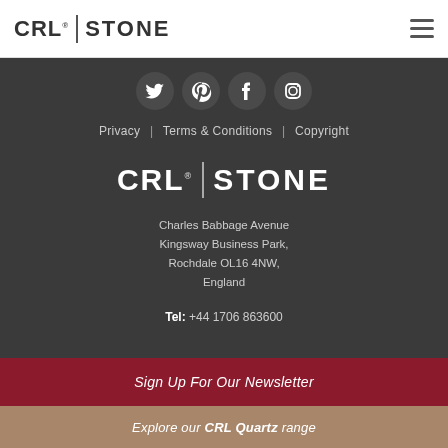CRL | STONE
[Figure (logo): Social media icons: Twitter, Pinterest, Facebook, Instagram — white icons on dark circular backgrounds]
Privacy | Terms & Conditions | Copyright
[Figure (logo): CRL | STONE logo in white on dark background]
Charles Babbage Avenue
Kingsway Business Park,
Rochdale OL16 4NW,
England
Tel: +44 1706 863600
Sign Up For Our Newsletter
Explore our CRL Quartz range